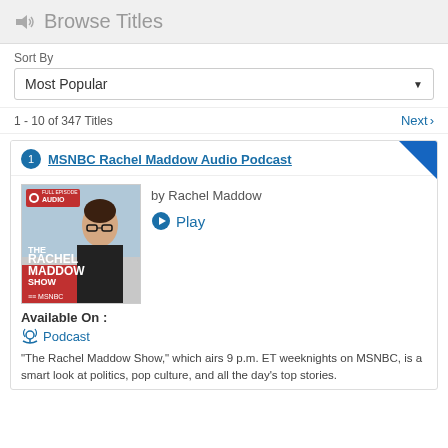Browse Titles
Sort By
Most Popular
1 - 10 of 347 Titles
Next
MSNBC Rachel Maddow Audio Podcast
[Figure (photo): Cover art for The Rachel Maddow Show podcast — woman with short dark hair and glasses wearing a black jacket, with show title text overlay and MSNBC branding]
by Rachel Maddow
Play
Available On :
Podcast
"The Rachel Maddow Show," which airs 9 p.m. ET weeknights on MSNBC, is a smart look at politics, pop culture, and all the day's top stories.